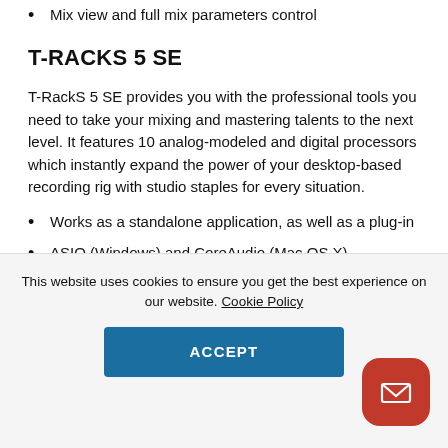Mix view and full mix parameters control
T-RACKS 5 SE
T-RackS 5 SE provides you with the professional tools you need to take your mixing and mastering talents to the next level. It features 10 analog-modeled and digital processors which instantly expand the power of your desktop-based recording rig with studio staples for every situation.
Works as a standalone application, as well as a plug-in
ASIO (Windows) and CoreAudio (Mac OS X) compatible (standalone only)
Configurable mixing/mastering chain – run up to 16
This website uses cookies to ensure you get the best experience on our website. Cookie Policy
ACCEPT